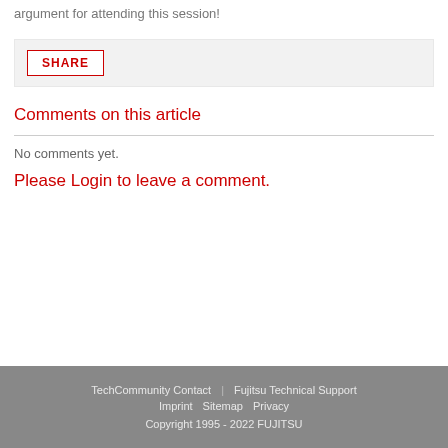argument for attending this session!
SHARE
Comments on this article
No comments yet.
Please Login to leave a comment.
TechCommunity Contact   Fujitsu Technical Support   Imprint   Sitemap   Privacy   Copyright 1995 - 2022 FUJITSU